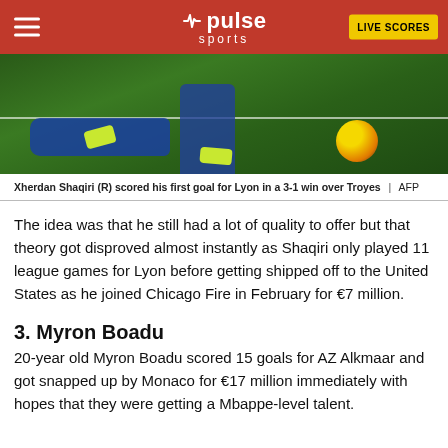pulse sports | LIVE SCORES
[Figure (photo): Football match scene with a player lying on grass and another standing, with a football visible near the right side. White line of the pitch visible.]
Xherdan Shaqiri (R) scored his first goal for Lyon in a 3-1 win over Troyes | AFP
The idea was that he still had a lot of quality to offer but that theory got disproved almost instantly as Shaqiri only played 11 league games for Lyon before getting shipped off to the United States as he joined Chicago Fire in February for €7 million.
3. Myron Boadu
20-year old Myron Boadu scored 15 goals for AZ Alkmaar and got snapped up by Monaco for €17 million immediately with hopes that they were getting a Mbappe-level talent.